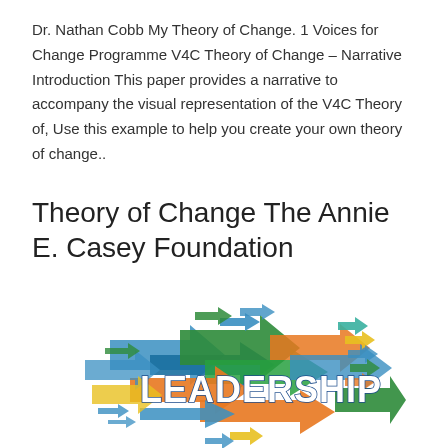Dr. Nathan Cobb My Theory of Change. 1 Voices for Change Programme V4C Theory of Change – Narrative Introduction This paper provides a narrative to accompany the visual representation of the V4C Theory of, Use this example to help you create your own theory of change..
Theory of Change The Annie E. Casey Foundation
[Figure (illustration): Colorful arrows of various sizes and colors (blue, green, orange, teal) pointing in multiple directions, with the word LEADERSHIP displayed prominently in large white 3D letters in the center of the arrow cluster.]